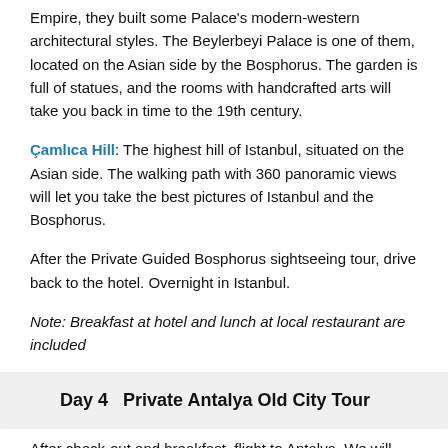Empire, they built some Palace's modern-western architectural styles. The Beylerbeyi Palace is one of them, located on the Asian side by the Bosphorus. The garden is full of statues, and the rooms with handcrafted arts will take you back in time to the 19th century.
Çamlıca Hill: The highest hill of Istanbul, situated on the Asian side. The walking path with 360 panoramic views will let you take the best pictures of Istanbul and the Bosphorus.
After the Private Guided Bosphorus sightseeing tour, drive back to the hotel. Overnight in Istanbul.
Note: Breakfast at hotel and lunch at local restaurant are included
Day 4   Private Antalya Old City Tour
After check-out and breakfast, flight to Antalya. We will arrive in Antalya by the noontime and will promptly begin the Private Antalya Old City Tour.